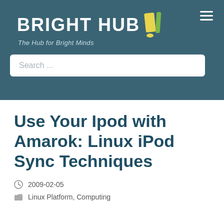[Figure (logo): Bright Hub logo with yellow exclamation mark icon and tagline 'The Hub for Bright Minds' on teal background]
Use Your Ipod with Amarok: Linux iPod Sync Techniques
2009-02-05
Linux Platform, Computing